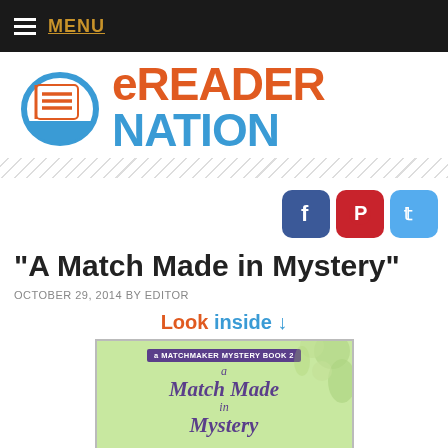MENU
[Figure (logo): eReader Nation logo with book icon and site name in orange and blue]
[Figure (infographic): Three social media icons: Facebook (blue), Pinterest (red), Twitter (blue)]
“A Match Made in Mystery”
OCTOBER 29, 2014 BY EDITOR
[Figure (illustration): Book cover for 'A Match Made in Mystery' - A Matchmaker Mystery Book 2, with decorative floral design on green background, purple text]